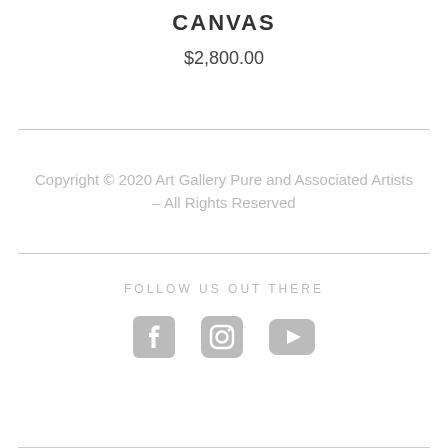CANVAS
$2,800.00
Copyright © 2020 Art Gallery Pure and Associated Artists – All Rights Reserved
FOLLOW US OUT THERE
[Figure (illustration): Social media icons: Facebook, Instagram, YouTube]